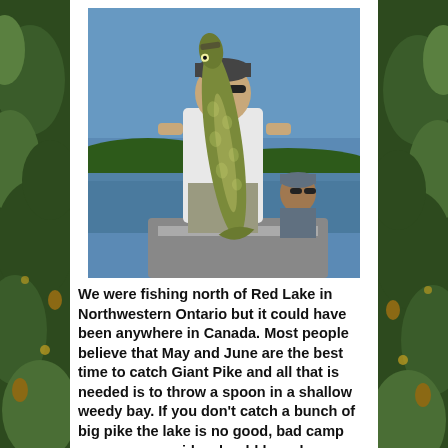[Figure (photo): A man standing in a boat holding a very large pike fish with both hands. Another person is visible in the background on the boat. The setting appears to be a lake in Northwestern Ontario on a sunny day.]
We were fishing north of Red Lake in Northwestern Ontario but it could have been anywhere in Canada. Most people believe that May and June are the best time to catch Giant Pike and all that is needed is to throw a spoon in a shallow weedy bay. If you don't catch a bunch of big pike the lake is no good, bad camp owner, poor guide, should have been catch and release